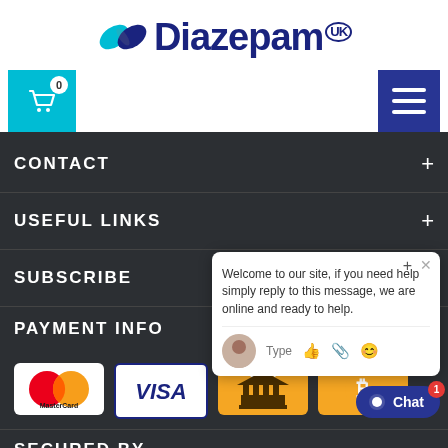[Figure (logo): Diazepam UK logo with pill icon and bold blue text]
[Figure (infographic): Navigation bar with teal shopping cart (badge 0) and dark blue hamburger menu button]
CONTACT
USEFUL LINKS
SUBSCRIBE
PAYMENT INFO
[Figure (infographic): Payment icons: MasterCard, VISA, Bank transfer, Bitcoin]
SECURED BY
[Figure (screenshot): Chat popup widget with avatar, welcome message, and Chat button with badge 1]